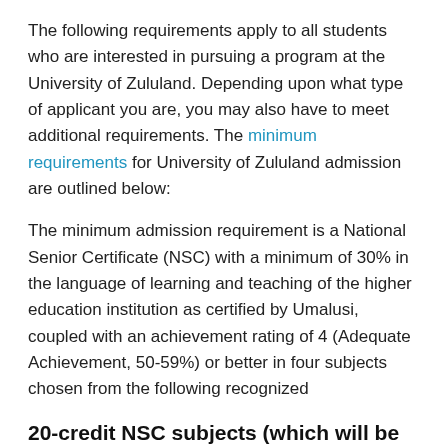The following requirements apply to all students who are interested in pursuing a program at the University of Zululand. Depending upon what type of applicant you are, you may also have to meet additional requirements. The minimum requirements for University of Zululand admission are outlined below:
The minimum admission requirement is a National Senior Certificate (NSC) with a minimum of 30% in the language of learning and teaching of the higher education institution as certified by Umalusi, coupled with an achievement rating of 4 (Adequate Achievement, 50-59%) or better in four subjects chosen from the following recognized
20-credit NSC subjects (which will be known as the designated subject list):
(Accounting, Agricultural Sciences, Business Studies, Dramatic